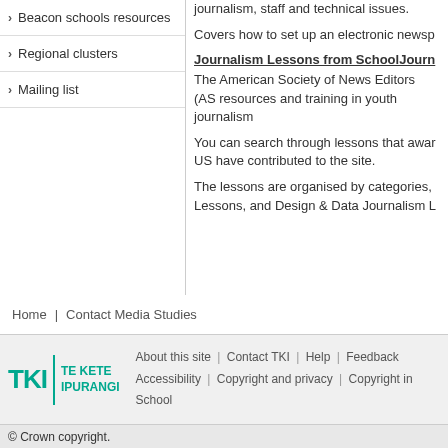Beacon schools resources
Regional clusters
Mailing list
journalism, staff and technical issues.
Covers how to set up an electronic newsp
Journalism Lessons from SchoolJourn
The American Society of News Editors (AS resources and training in youth journalism
You can search through lessons that awar US have contributed to the site.
The lessons are organised by categories, Lessons, and Design & Data Journalism L
Home | Contact Media Studies
[Figure (logo): TKI Te Kete Ipurangi logo in teal/green]
About this site | Contact TKI | Help | Feedback
Accessibility | Copyright and privacy | Copyright in School
© Crown copyright.